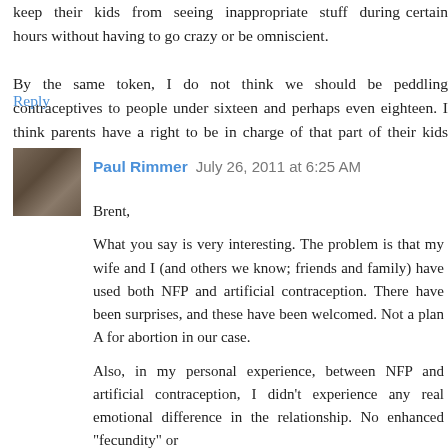keep their kids from seeing inappropriate stuff during certain hours without having to go crazy or be omniscient.
By the same token, I do not think we should be peddling contraceptives to people under sixteen and perhaps even eighteen. I think parents have a right to be in charge of that part of their kids lives.
Reply
Paul Rimmer  July 26, 2011 at 6:25 AM
Brent,
What you say is very interesting. The problem is that my wife and I (and others we know; friends and family) have used both NFP and artificial contraception. There have been surprises, and these have been welcomed. Not a plan A for abortion in our case.
Also, in my personal experience, between NFP and artificial contraception, I didn't experience any real emotional difference in the relationship. No enhanced "fecundity" or